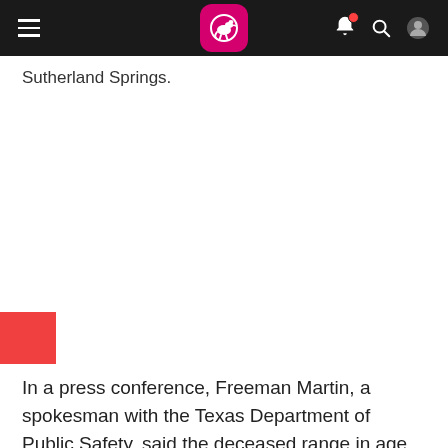[App navigation bar with hamburger menu, kangaroo logo, notification bell, search, and profile icons]
Sutherland Springs.
[Figure (other): Red rectangle block on left edge, likely a decorative divider or image placeholder]
In a press conference, Freeman Martin, a spokesman with the Texas Department of Public Safety, said the deceased range in age from five to 72-year-old and